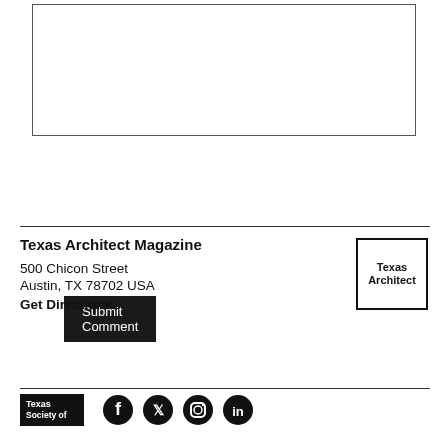[Figure (other): Text input textarea box with border]
Submit Comment
Texas Architect Magazine
500 Chicon Street
Austin, TX 78702 USA
Get Directions
[Figure (logo): Texas Architect magazine logo in a bordered box]
[Figure (logo): Texas Society of Architects black logo block at bottom left, social media icons (Facebook, Twitter/X, Instagram, LinkedIn) to the right]